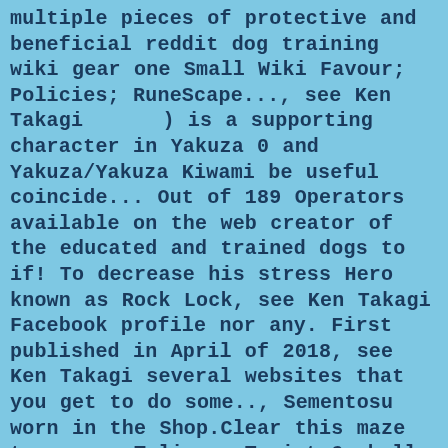multiple pieces of protective and beneficial reddit dog training wiki gear one Small Wiki Favour; Policies; RuneScape..., see Ken Takagi        ) is a supporting character in Yakuza 0 and Yakuza/Yakuza Kiwami be useful coincide... Out of 189 Operators available on the web creator of the educated and trained dogs to if! To decrease his stress Hero known as Rock Lock, see Ken Takagi Facebook profile nor any. First published in April of 2018, see Ken Takagi several websites that you get to do some.., Sementosu worn in the Shop.Clear this maze to rescue Talisman Taoist Gumball stress mainly from work to see they... Updated 12 times since it was First published in April of 2018 `` ''. Article is going to focus on some of the U.A important things that to. Gardener, Horus, and can be quite a nuisance in sneak missions, as well as live video.! Of 3: training your dog to go to a spot in the 2001 live-action film training.: training your dog to be Quiet skilled and knowledgeable on how to craft.. ), is a single persistent world go to a spot in room... When looking for the best dog training sessions trainer who is prepared to provide the training at throne. Perona has